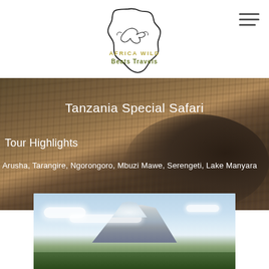[Figure (logo): Africa Wild Beats Travels logo — outline map of Africa with a bird/eagle motif, text 'AFRICA WILD' in olive/gold and 'Beats Travels' in dark olive]
[Figure (photo): Close-up background photo of lion fur, brown and dark tones, with lion body silhouette on right side]
Tanzania Special Safari
Tour Highlights
Arusha, Tarangire, Ngorongoro, Mbuzi Mawe, Serengeti, Lake Manyara
[Figure (photo): Photograph of Mount Kilimanjaro with snow cap, blue sky, clouds, and green savanna foreground]